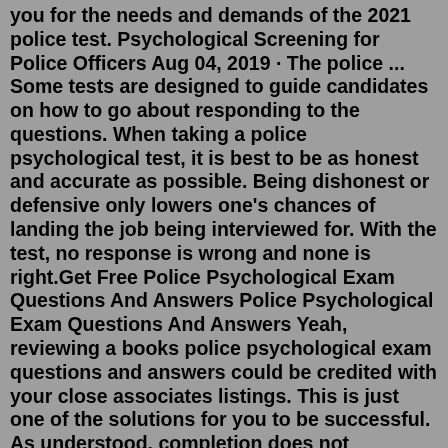you for the needs and demands of the 2021 police test. Psychological Screening for Police Officers Aug 04, 2019 · The police ... Some tests are designed to guide candidates on how to go about responding to the questions. When taking a police psychological test, it is best to be as honest and accurate as possible. Being dishonest or defensive only lowers one's chances of landing the job being interviewed for. With the test, no response is wrong and none is right.Get Free Police Psychological Exam Questions And Answers Police Psychological Exam Questions And Answers Yeah, reviewing a books police psychological exam questions and answers could be credited with your close associates listings. This is just one of the solutions for you to be successful. As understood, completion does not recommend that you ... Oct 08, 2021 · Police Exam Questions | Free Practice Police Quizzes! POLICE Exam QUESTIONS. Police Test Study Guide has put together the most comprehensive range of police exam questions and full-length